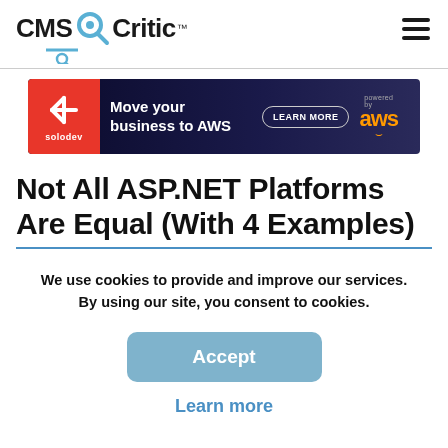CMS Critic
[Figure (screenshot): Solodev advertisement banner: Move your business to AWS, powered by aws]
Not All ASP.NET Platforms Are Equal (With 4 Examples)
We use cookies to provide and improve our services. By using our site, you consent to cookies.
Accept
Learn more